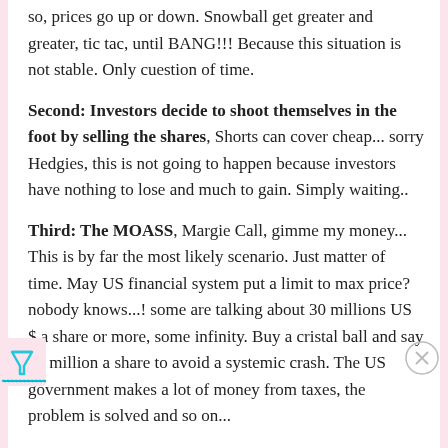so, prices go up or down. Snowball get greater and greater, tic tac, until BANG!!! Because this situation is not stable. Only cuestion of time.
Second: Investors decide to shoot themselves in the foot by selling the shares, Shorts can cover cheap... sorry Hedgies, this is not going to happen because investors have nothing to lose and much to gain. Simply waiting..
Third: The MOASS, Margie Call, gimme my money... This is by far the most likely scenario. Just matter of time. May US financial system put a limit to max price? nobody knows...! some are talking about 30 millions US $ a share or more, some infinity. Buy a cristal ball and say $1 million a share to avoid a systemic crash. The US government makes a lot of money from taxes, the problem is solved and so on...
Actually, there are a lot of factors that are leading us to the MOASS: the float shrinks, stock record (DRS), beta, NFT, increasingly positive results of the company every quarter, quarterly losses of the Hedgies... MOASS is near.